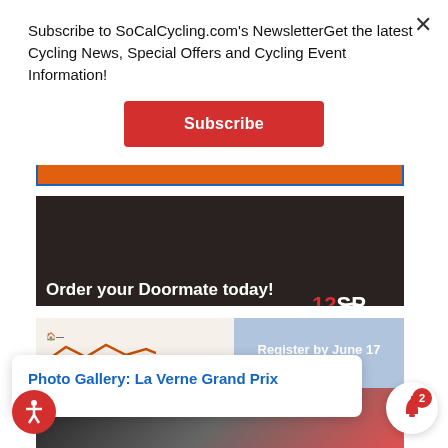Subscribe to SoCalCycling.com's NewsletterGet the latest Cycling News, Special Offers and Cycling Event Information!
Subscribe
[Figure (photo): Orange advertisement banner with blue border]
[Figure (photo): 12SP Doormate advertisement: metal bike component closeup with text 'Order your Doormate today!']
[Figure (photo): Mammoth Gran Fondo advertisement with mountain background and 'Register by June 17 and SAVE' text]
Photo Gallery: La Verne Grand Prix
ago
[Figure (photo): Bottom strip showing cyclists racing]